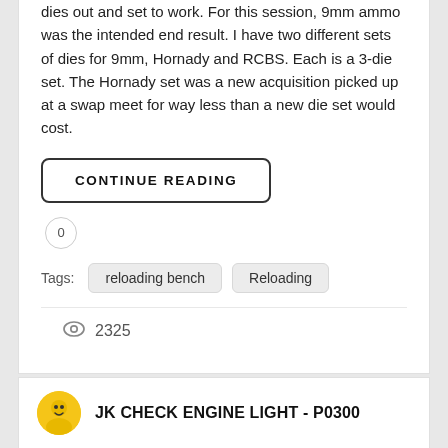dies out and set to work. For this session, 9mm ammo was the intended end result. I have two different sets of dies for 9mm, Hornady and RCBS. Each is a 3-die set. The Hornady set was a new acquisition picked up at a swap meet for way less than a new die set would cost.
CONTINUE READING
0
Tags: reloading bench   Reloading
2325
JK CHECK ENGINE LIGHT - P0300